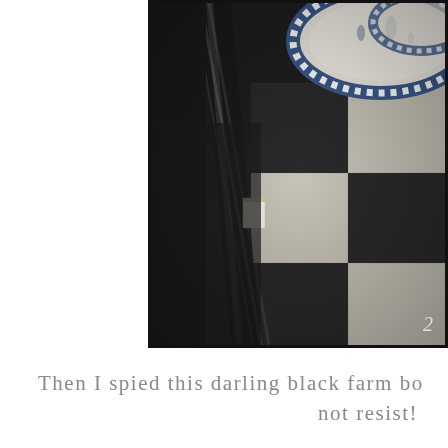[Figure (photo): Close-up photo of a black and white buffalo check/plaid fabric item (farm bag), with blue and white gingham-bordered decorative plates visible in the upper portion. The scene is photographed in low light on a dark surface. A watermark '2' is visible in the lower right corner.]
Then I spied this darling black farm bo... not resist!